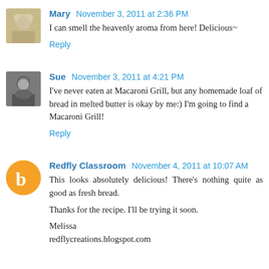Mary — November 3, 2011 at 2:36 PM
I can smell the heavenly aroma from here! Delicious~
Reply
Sue — November 3, 2011 at 4:21 PM
I've never eaten at Macaroni Grill, but any homemade loaf of bread in melted butter is okay by me:) I'm going to find a Macaroni Grill!
Reply
Redfly Classroom — November 4, 2011 at 10:07 AM
This looks absolutely delicious! There's nothing quite as good as fresh bread.

Thanks for the recipe. I'll be trying it soon.

Melissa
redflycreations.blogspot.com